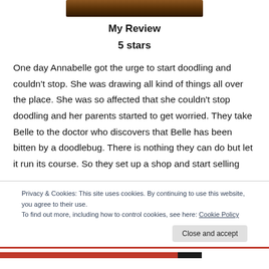[Figure (photo): Partial image of a book cover with warm brown tones at the top of the page]
My Review
5 stars
One day Annabelle got the urge to start doodling and couldn't stop. She was drawing all kind of things all over the place. She was so affected that she couldn't stop doodling and her parents started to get worried. They take Belle to the doctor who discovers that Belle has been bitten by a doodlebug. There is nothing they can do but let it run its course. So they set up a shop and start selling
Privacy & Cookies: This site uses cookies. By continuing to use this website, you agree to their use.
To find out more, including how to control cookies, see here: Cookie Policy